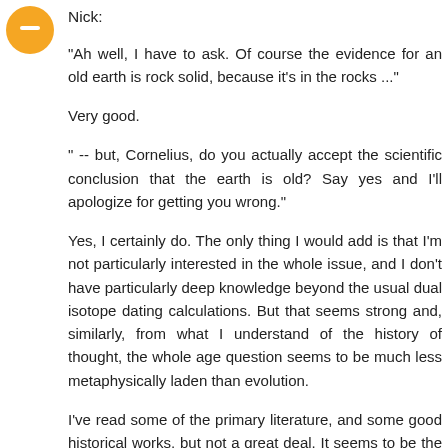Nick:
"Ah well, I have to ask. Of course the evidence for an old earth is rock solid, because it's in the rocks ..."
Very good.
" -- but, Cornelius, do you actually accept the scientific conclusion that the earth is old? Say yes and I'll apologize for getting you wrong."
Yes, I certainly do. The only thing I would add is that I'm not particularly interested in the whole issue, and I don't have particularly deep knowledge beyond the usual dual isotope dating calculations. But that seems strong and, similarly, from what I understand of the history of thought, the whole age question seems to be much less metaphysically laden than evolution.
I've read some of the primary literature, and some good historical works, but not a great deal. It seems to be the inverse of evolution. Whereas evolution is metaphysically